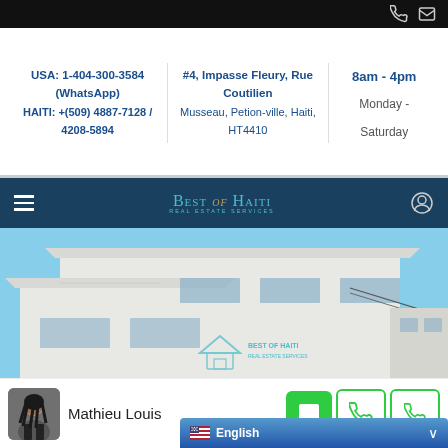Top bar with phone and email icons
USA: 1-404-300-3584 (WhatsApp)
HAITI: +(509) 4887-7128 / 4208-5894
#4, Impasse Fleury, Rue Coutilien
Musseau, Petion-ville, Haiti, HT4410
8am - 4pm
Monday - Saturday
[Figure (logo): Best of Haiti Real Estate logo on dark blue navigation bar]
[Figure (photo): Exterior photo of a white multi-story building in Haiti with a blue sky background, with Best of Haiti watermark]
Mathieu Louis
English